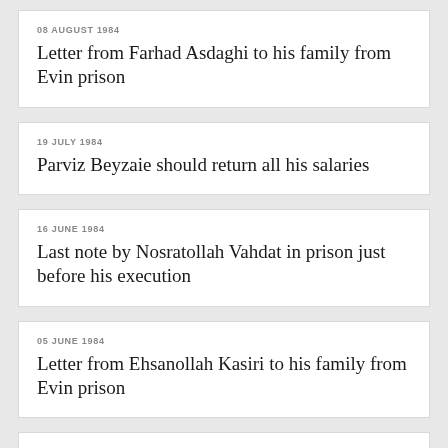08 AUGUST 1984
Letter from Farhad Asdaghi to his family from Evin prison
19 JULY 1984
Parviz Beyzaie should return all his salaries
16 JUNE 1984
Last note by Nosratollah Vahdat in prison just before his execution
05 JUNE 1984
Letter from Ehsanollah Kasiri to his family from Evin prison
12 MAY 1984